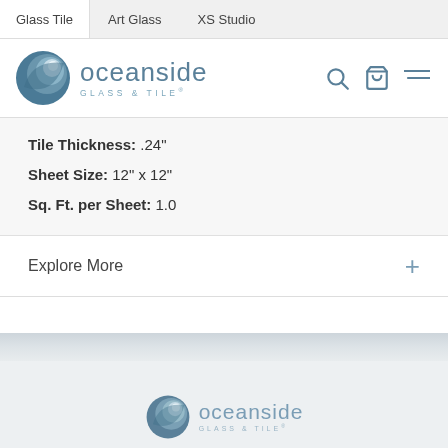Glass Tile | Art Glass | XS Studio
[Figure (logo): Oceanside Glass & Tile logo with circular wave icon]
Tile Thickness: .24"
Sheet Size: 12" x 12"
Sq. Ft. per Sheet: 1.0
Explore More
[Figure (logo): Oceanside Glass & Tile footer logo with circular wave icon]